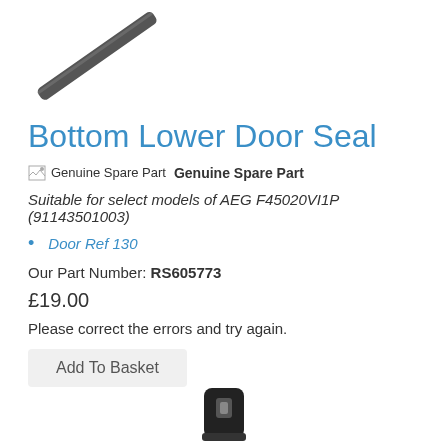[Figure (photo): Product image of a door seal strip shown diagonally, dark grey/black rubber strip]
Bottom Lower Door Seal
Genuine Spare Part  Genuine Spare Part
Suitable for select models of AEG F45020VI1P (91143501003)
Door Ref 130
Our Part Number: RS605773
£19.00
Please correct the errors and try again.
Add To Basket
[Figure (photo): Product image of a smaller black door seal component]